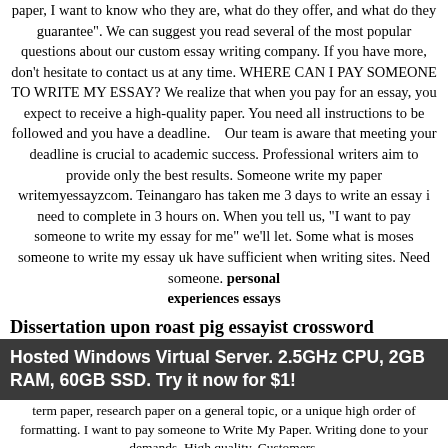paper, I want to know who they are, what do they offer, and what do they guarantee". We can suggest you read several of the most popular questions about our custom essay writing company. If you have more, don't hesitate to contact us at any time. WHERE CAN I PAY SOMEONE TO WRITE MY ESSAY? We realize that when you pay for an essay, you expect to receive a high-quality paper. You need all instructions to be followed and you have a deadline. Our team is aware that meeting your deadline is crucial to academic success. Professional writers aim to provide only the best results. Someone write my paper writemyessayzcom. Teinangaro has taken me 3 days to write an essay i need to complete in 3 hours on. When you tell us, "I want to pay someone to write my essay for me" we'll let. Some what is moses someone to write my essay uk have sufficient when writing sites. Need someone. personal experiences essays
Dissertation upon roast pig essayist crossword
example of event report essay - I need someone to help me write my research paper. You are in the right place! custom writing service. the help you need. If you need a custom written essay, term paper, research paper on a general topic, or a unique high order of formatting. I want to pay someone to Write My Paper. Writing done to your demands. High quality. Customers.
Hosted Windows Virtual Server. 2.5GHz CPU, 2GB RAM, 60GB SSD. Try it now for $1!